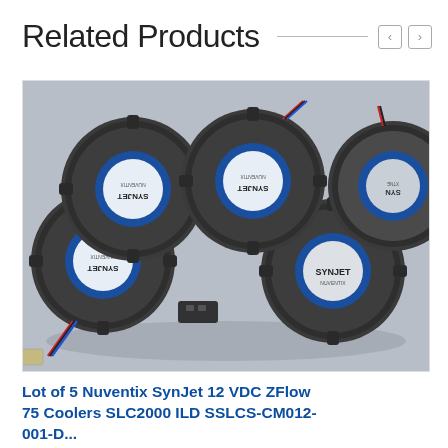Related Products
[Figure (photo): Photo of 5 Nuventix SynJet circular cooling fans/devices arranged on a gray surface, each showing a blue and white label with 'SYNJET' and 'NUVENTIX' branding, with colored wires visible.]
Lot of 5 Nuventix SynJet 12 VDC ZFlow 75 Coolers SLC2000 ILD SSLCS-CM012-001-D...